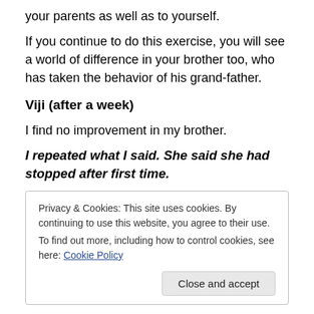your parents as well as to yourself.
If you continue to do this exercise, you will see a world of difference in your brother too, who has taken the behavior of his grand-father.
Viji (after a week)
I find no improvement in my brother.
I repeated what I said. She said she had stopped after first time.
Privacy & Cookies: This site uses cookies. By continuing to use this website, you agree to their use.
To find out more, including how to control cookies, see here: Cookie Policy
I repeated what I said. she had stopped after the ...